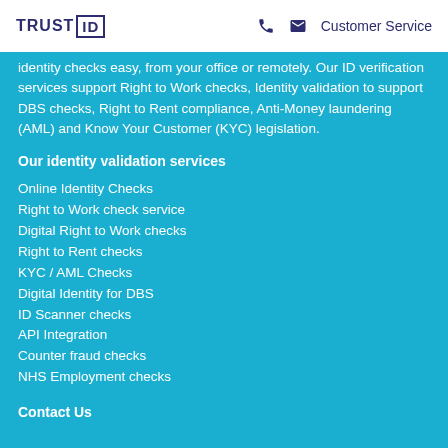TRUST ID | Customer Service
identity checks easy, from your office or remotely. Our ID verification services support Right to Work checks, Identity validation to support DBS checks, Right to Rent compliance, Anti-Money laundering (AML) and Know Your Customer (KYC) legislation.
Our identity validation services
Online Identity Checks
Right to Work check service
Digital Right to Work checks
Right to Rent checks
KYC / AML Checks
Digital Identity for DBS
ID Scanner checks
API Integration
Counter fraud checks
NHS Employment checks
Contact Us